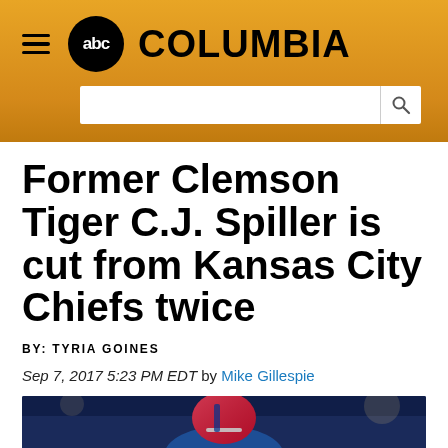abc COLUMBIA
Former Clemson Tiger C.J. Spiller is cut from Kansas City Chiefs twice
BY: TYRIA GOINES
Sep 7, 2017 5:23 PM EDT by Mike Gillespie
[Figure (photo): Photo of a football player wearing a Buffalo Bills uniform and helmet, number 28]